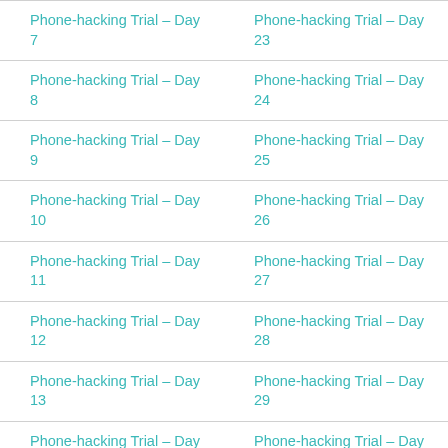| Phone-hacking Trial – Day 7 | Phone-hacking Trial – Day 23 |
| Phone-hacking Trial – Day 8 | Phone-hacking Trial – Day 24 |
| Phone-hacking Trial – Day 9 | Phone-hacking Trial – Day 25 |
| Phone-hacking Trial – Day 10 | Phone-hacking Trial – Day 26 |
| Phone-hacking Trial – Day 11 | Phone-hacking Trial – Day 27 |
| Phone-hacking Trial – Day 12 | Phone-hacking Trial – Day 28 |
| Phone-hacking Trial – Day 13 | Phone-hacking Trial – Day 29 |
| Phone-hacking Trial – Day 14 | Phone-hacking Trial – Day 30 |
| Phone-hacking Trial – Day 15 |  |